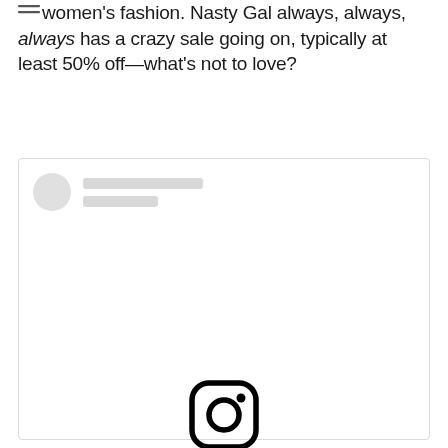women's fashion. Nasty Gal always, always, always has a crazy sale going on, typically at least 50% off—what's not to love?
[Figure (screenshot): Embedded Instagram post placeholder showing a profile avatar with two grey placeholder lines, a large Instagram logo icon in the center, a blue 'View this post on Instagram' link, and grey caption text 'A post shared by Nasty Gal (@nastygal)']